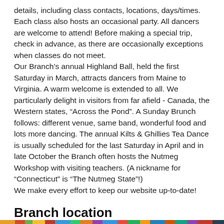details, including class contacts, locations, days/times. Each class also hosts an occasional party. All dancers are welcome to attend! Before making a special trip, check in advance, as there are occasionally exceptions when classes do not meet. Our Branch’s annual Highland Ball, held the first Saturday in March, attracts dancers from Maine to Virginia. A warm welcome is extended to all. We particularly delight in visitors from far afield - Canada, the Western states, “Across the Pond”. A Sunday Brunch follows: different venue, same band, wonderful food and lots more dancing. The annual Kilts & Ghillies Tea Dance is usually scheduled for the last Saturday in April and in late October the Branch often hosts the Nutmeg Workshop with visiting teachers. (A nickname for “Connecticut” is “The Nutmeg State”!) We make every effort to keep our website up-to-date!
Branch location